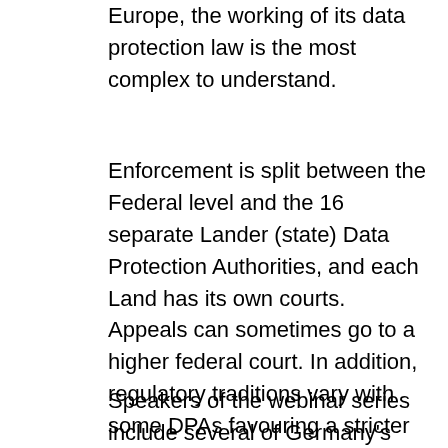Europe, the working of its data protection law is the most complex to understand.
Enforcement is split between the Federal level and the 16 separate Lander (state) Data Protection Authorities, and each Land has its own courts. Appeals can sometimes go to a higher federal court. In addition, regulatory traditions vary with some DPAs favouring a stricter interpretation of the law while others are more pragmatic.
Speakers of the webinar series include several of Germany’s Data Protection Authorities, Covington & Burling’s lawyers from its Frankfurt